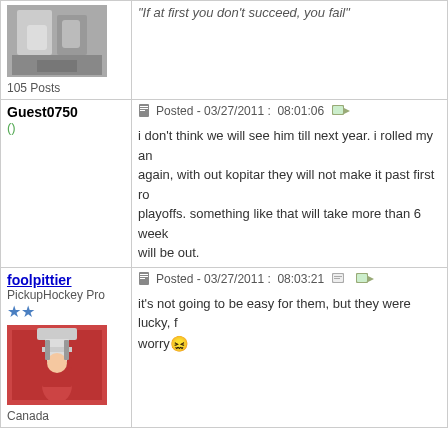"If at first you don't succeed, you fail"
105 Posts
Guest0750
Posted - 03/27/2011 :  08:01:06
i don't think we will see him till next year. i rolled my an... again, with out kopitar they will not make it past first ro... playoffs. something like that will take more than 6 week... will be out.
foolpittier
PickupHockey Pro
Posted - 03/27/2011 :  08:03:21
it's not going to be easy for them, but they were lucky, f... worry
Canada